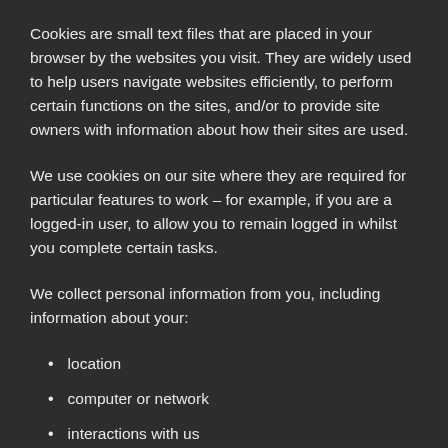Cookies are small text files that are placed in your browser by the websites you visit. They are widely used to help users navigate websites efficiently, to perform certain functions on the sites, and/or to provide site owners with information about how their sites are used.
We use cookies on our site where they are required for particular features to work – for example, if you are a logged-in user, to allow you to remain logged in whilst you complete certain tasks.
We collect personal information from you, including information about your:
location
computer or network
interactions with us